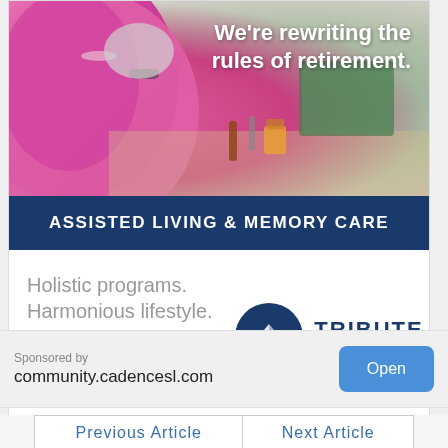[Figure (photo): Elderly woman in pink top painting at an outdoor art class, with others around her. Text overlay reads: We're rewriting the rules of retirement.]
We're rewriting the rules of retirement.
ASSISTED LIVING & MEMORY CARE
Holistic programs. Harmonious lifestyle.
SCHEDULE A TOUR
[Figure (logo): Tribute at Melford logo with circular emblem and text TRIBUTE AT MELFORD]
Sponsored by
community.cadencesl.com
Open
| Previous Article | Next Article |